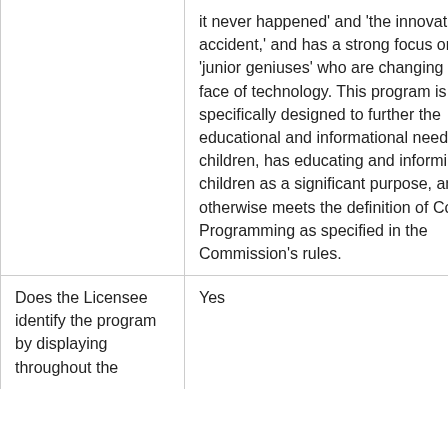|  | it never happened' and 'the innovation by accident,' and has a strong focus on 'junior geniuses' who are changing the face of technology. This program is specifically designed to further the educational and informational needs of children, has educating and informing children as a significant purpose, and otherwise meets the definition of Core Programming as specified in the Commission's rules. |
| Does the Licensee identify the program by displaying throughout the | Yes |